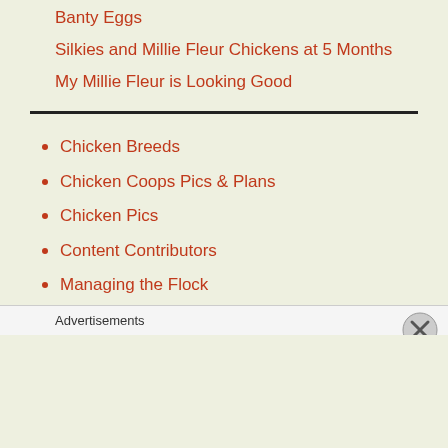Banty Eggs
Silkies and Millie Fleur Chickens at 5 Months
My Millie Fleur is Looking Good
Chicken Breeds
Chicken Coops Pics & Plans
Chicken Pics
Content Contributors
Managing the Flock
Reviews
TBN Ranch Videos
Writing | Farm Posts
Advertisements